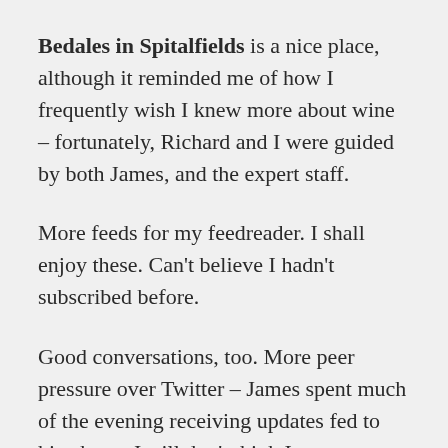Bedales in Spitalfields is a nice place, although it reminded me of how I frequently wish I knew more about wine – fortunately, Richard and I were guided by both James, and the expert staff.
More feeds for my feedreader. I shall enjoy these. Can't believe I hadn't subscribed before.
Good conversations, too. More peer pressure over Twitter – James spent much of the evening receiving updates fed to his phone. I still don't think I can go there, my impression is that it will be far too intrusive.